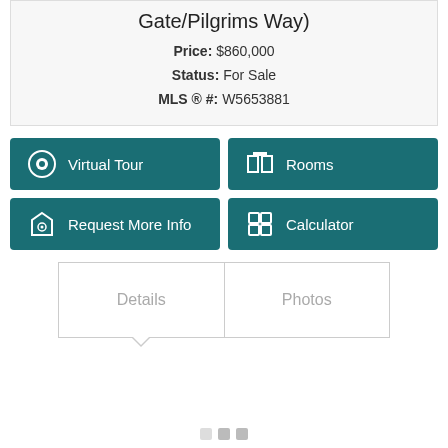Gate/Pilgrims Way)
Price: $860,000
Status: For Sale
MLS ® #: W5653881
Virtual Tour
Rooms
Request More Info
Calculator
Details
Photos